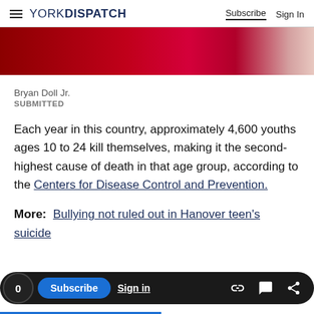YORK DISPATCH | Subscribe  Sign In
[Figure (photo): Partial red background image, likely related to article about youth suicide]
Bryan Doll Jr.
SUBMITTED
Each year in this country, approximately 4,600 youths ages 10 to 24 kill themselves, making it the second-highest cause of death in that age group, according to the Centers for Disease Control and Prevention.
More:  Bullying not ruled out in Hanover teen's suicide
0  Subscribe  Sign in